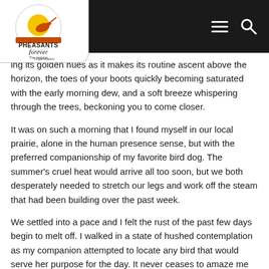Pheasants Forever – The Habitat Organization (navigation header with logo, menu, and search icons)
ing its golden hues as it makes its routine ascent above the horizon, the toes of your boots quickly becoming saturated with the early morning dew, and a soft breeze whispering through the trees, beckoning you to come closer.
It was on such a morning that I found myself in our local prairie, alone in the human presence sense, but with the preferred companionship of my favorite bird dog. The summer's cruel heat would arrive all too soon, but we both desperately needed to stretch our legs and work off the steam that had been building over the past week.
We settled into a pace and I felt the rust of the past few days begin to melt off. I walked in a state of hushed contemplation as my companion attempted to locate any bird that would serve her purpose for the day. It never ceases to amaze me what can be discovered when we take the opportunity to be mindful in the moment, and I am more aware of this every day, every year, that we spend exploring in the wild.